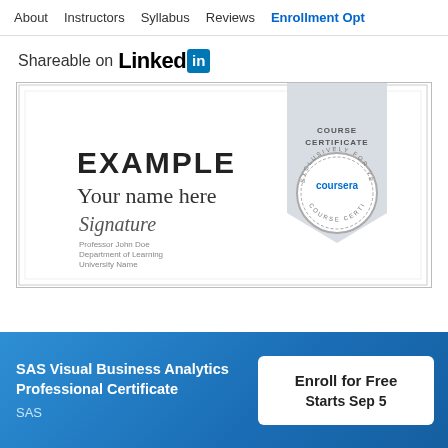About   Instructors   Syllabus   Reviews   Enrollment Opt
Shareable on LinkedIn
[Figure (illustration): Example Coursera course certificate showing 'EXAMPLE / Your name here' with a signature and Coursera seal badge, plus a 'COURSE CERTIFICATE' ribbon banner in grey]
SAS Visual Business Analytics Professional Certificate
SAS
Enroll for Free
Starts Sep 5